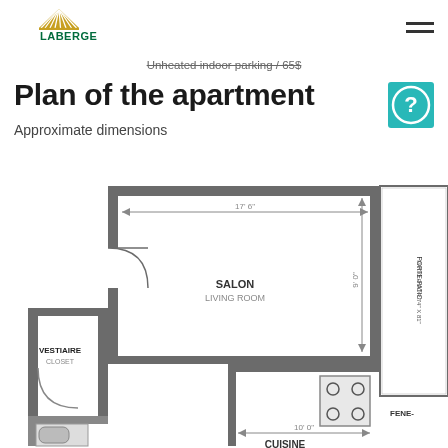LABERGE
Unheated indoor parking / 65$
Plan of the apartment
Approximate dimensions
[Figure (engineering-diagram): Floor plan of apartment showing: SALON / LIVING ROOM with 17'6" width and 9'0" height dimensions, VESTIAIRE / CLOSET, BALCON / BALCONY 4'6" X 10'9", PORTE-PATIO / PATIO DOOR 74" X 81", CUISINE / kitchen area with 10'0" width, stove shown, and FENE- (window) partial text. Thick walls shown in dark gray with door arcs.]